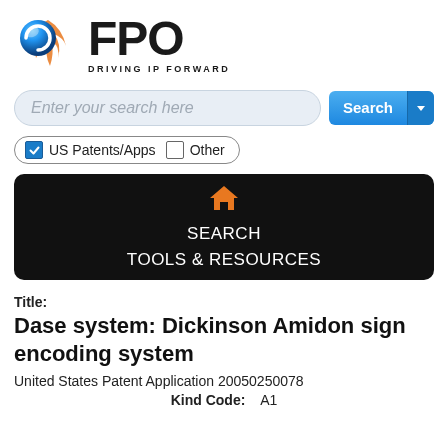[Figure (logo): FPO logo with blue sphere, orange flame/swirl, bold FPO text, and tagline DRIVING IP FORWARD]
[Figure (screenshot): Search bar with placeholder text 'Enter your search here' and a blue Search button with dropdown arrow]
[Figure (screenshot): Checkbox row with checked 'US Patents/Apps' and unchecked 'Other' inside rounded border]
[Figure (screenshot): Black navigation bar with orange home icon, SEARCH link, and TOOLS & RESOURCES link]
Title:
Dase system: Dickinson Amidon sign encoding system
United States Patent Application 20050250078
Kind Code:  A1